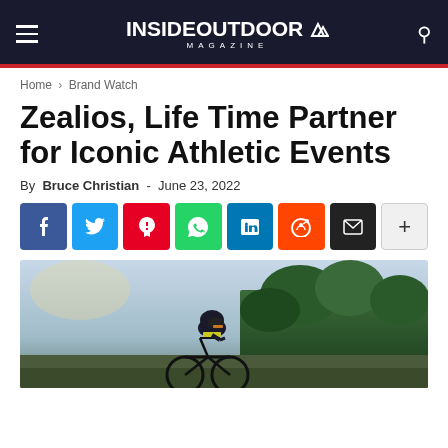INSIDE OUTDOOR MAGAZINE
Home › Brand Watch
Zealios, Life Time Partner for Iconic Athletic Events
By Bruce Christian - June 23, 2022
[Figure (other): Social sharing buttons: Facebook, Twitter, Pinterest, WhatsApp, LinkedIn, Reddit, Email, More]
[Figure (photo): Cyclist in black and yellow kit, wearing helmet and sunglasses, leaning over bicycle handlebars outdoors with trees in background]